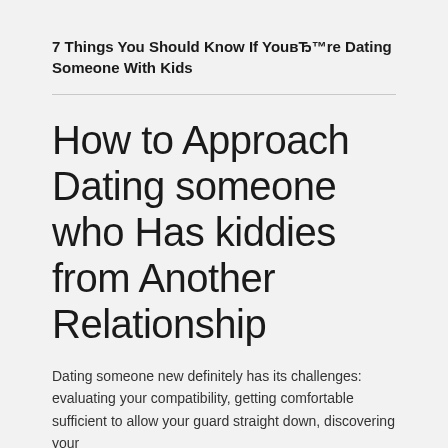7 Things You Should Know If YouвЂ™re Dating Someone With Kids
How to Approach Dating someone who Has kiddies from Another Relationship
Dating someone new definitely has its challenges: evaluating your compatibility, getting comfortable sufficient to allow your guard straight down, discovering your